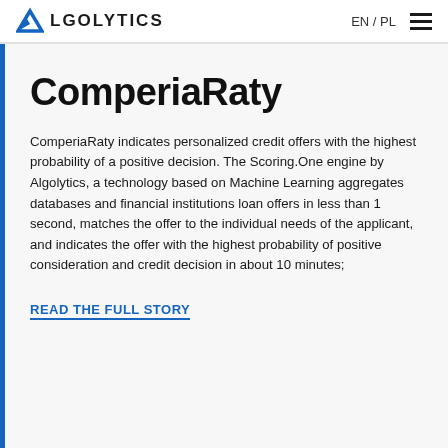ALGOLYTICS  EN / PL
ComperiaRaty
ComperiaRaty indicates personalized credit offers with the highest probability of a positive decision. The Scoring.One engine by Algolytics, a technology based on Machine Learning aggregates databases and financial institutions loan offers in less than 1 second, matches the offer to the individual needs of the applicant, and indicates the offer with the highest probability of positive consideration and credit decision in about 10 minutes;
READ THE FULL STORY